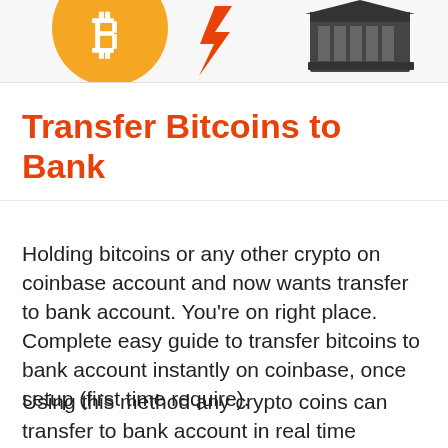[Figure (illustration): Header graphic showing an orange Bitcoin circle logo on the left, a red lightning bolt arrow in the center, and a dark bank building icon on the right, on a light grey background.]
Transfer Bitcoins to Bank
Holding bitcoins or any other crypto on coinbase account and now wants transfer to bank account. You’re on right place. Complete easy guide to transfer bitcoins to bank account instantly on coinbase, once setup (first time require).
Using this method any crypto coins can transfer to bank account in real time without waiting a minute. Do using app